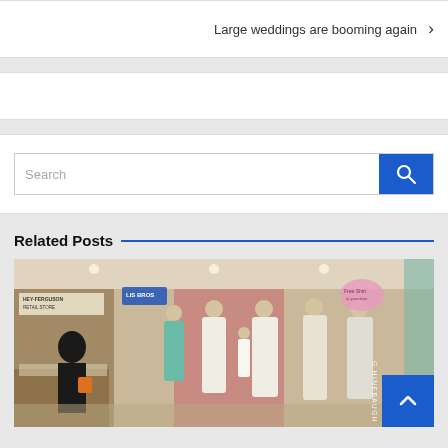Large weddings are booming again >
[Figure (screenshot): Search bar with blue search button]
Related Posts
[Figure (photo): Museum exhibit interior showing mannequins wearing vintage wedding dresses, with a person browsing the exhibit. Signs visible include 'HEY-FERGUSON RETAIL STORE' and 'LIS BROS'. Watermark reads 'G HINEBAUGH'.]